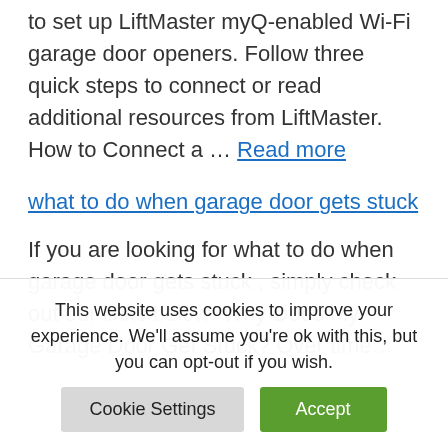to set up LiftMaster myQ-enabled Wi-Fi garage door openers. Follow three quick steps to connect or read additional resources from LiftMaster. How to Connect a … Read more
what to do when garage door gets stuck
If you are looking for what to do when garage door gets stuck , simply check out our links below: Why Does My Garage Door Get Stuck? Over time…
This website uses cookies to improve your experience. We'll assume you're ok with this, but you can opt-out if you wish.